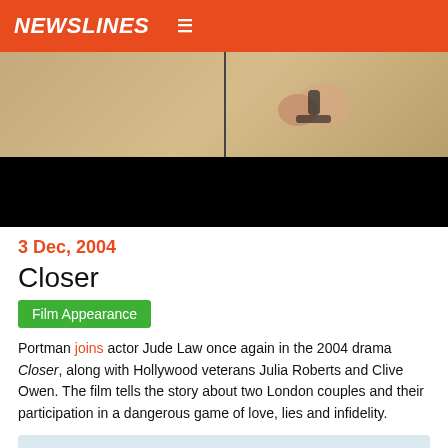NEWSLINES
[Figure (photo): A cropped photo showing hands/arms near someone's torso, split by a vertical line, against a warm beige background. Lower portion is black.]
3 Dec, 2004
Closer
Film Appearance
Portman joins actor Jude Law once again in the 2004 drama Closer, along with Hollywood veterans Julia Roberts and Clive Owen. The film tells the story about two London couples and their participation in a dangerous game of love, lies and infidelity.
I just always choose things based on if it's different from